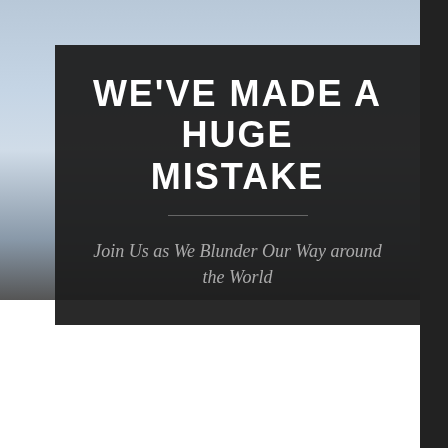[Figure (photo): Sky background with clouds, used as website header background image]
WE'VE MADE A HUGE MISTAKE
Join Us as We Blunder Our Way around the World
Navigation bar with hamburger menu icon and search icon
A Saga to get Sleeping Pills in